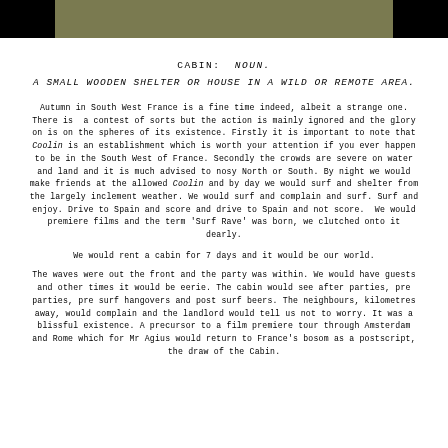[Figure (photo): Horizontal banner image with black bars on left and right sides and an olive/khaki green textured center section, appearing to show foliage or natural texture.]
CABIN: NOUN.
A SMALL WOODEN SHELTER OR HOUSE IN A WILD OR REMOTE AREA.
Autumn in South West France is a fine time indeed, albeit a strange one. There is a contest of sorts but the action is mainly ignored and the glory on is on the spheres of its existence. Firstly it is important to note that Coolin is an establishment which is worth your attention if you ever happen to be in the South West of France. Secondly the crowds are severe on water and land and it is much advised to nosy North or South. By night we would make friends at the allowed Coolin and by day we would surf and shelter from the largely inclement weather. We would surf and complain and surf. Surf and enjoy. Drive to Spain and score and drive to Spain and not score. We would premiere films and the term 'Surf Rave' was born, we clutched onto it dearly.
We would rent a cabin for 7 days and it would be our world.
The waves were out the front and the party was within. We would have guests and other times it would be eerie. The cabin would see after parties, pre parties, pre surf hangovers and post surf beers. The neighbours, kilometres away, would complain and the landlord would tell us not to worry. It was a blissful existence. A precursor to a film premiere tour through Amsterdam and Rome which for Mr Agius would return to France's bosom as a postscript, the draw of the Cabin.